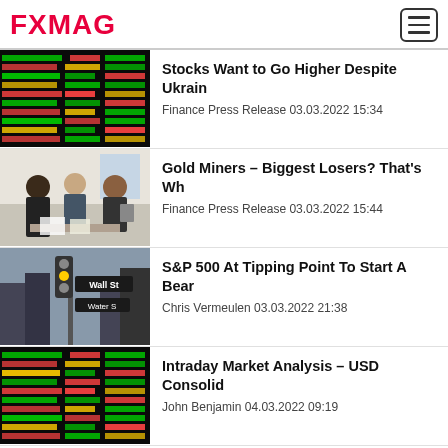FXMAG
Stocks Want to Go Higher Despite Ukrain... | Finance Press Release 03.03.2022 15:34
Gold Miners – Biggest Losers? That's Wh... | Finance Press Release 03.03.2022 15:44
S&P 500 At Tipping Point To Start A Bear... | Chris Vermeulen 03.03.2022 21:38
Intraday Market Analysis – USD Consolid... | John Benjamin 04.03.2022 09:19